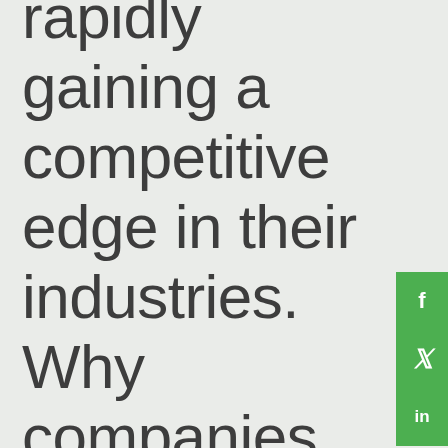rapidly gaining a competitive edge in their industries. Why companies should now seriously invest into a cloud ecosystem that offers agility
[Figure (other): Social sharing sidebar with Facebook, Twitter, and LinkedIn icons on a green background]